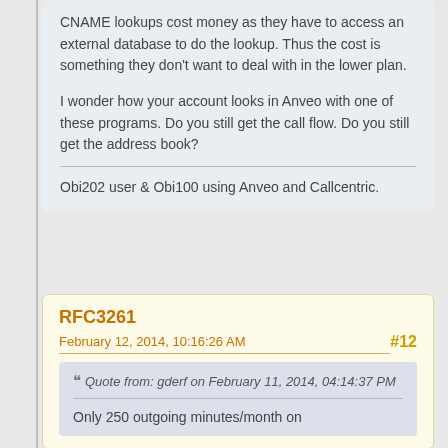CNAME lookups cost money as they have to access an external database to do the lookup.  Thus the cost is something they don't want to deal with in the lower plan.
I wonder how your account looks in Anveo with one of these programs.  Do you still get the call flow.  Do you still get the address book?
Obi202 user & Obi100 using Anveo and Callcentric.
RFC3261
February 12, 2014, 10:16:26 AM
#12
Quote from: gderf on February 11, 2014, 04:14:37 PM
Only 250 outgoing minutes/month on